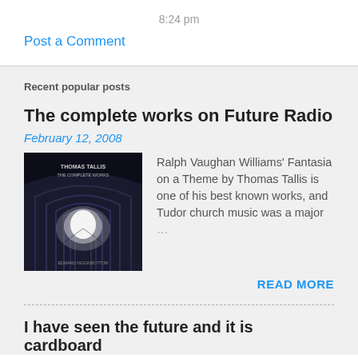8:24 pm
Post a Comment
Recent popular posts
The complete works on Future Radio
February 12, 2008
[Figure (photo): Album cover for Thomas Tallis - The Complete Works, showing a cathedral interior with arched columns and bright light at the end of the nave]
Ralph Vaughan Williams' Fantasia on a Theme by Thomas Tallis is one of his best known works, and Tudor church music was a major …
READ MORE
I have seen the future and it is cardboard